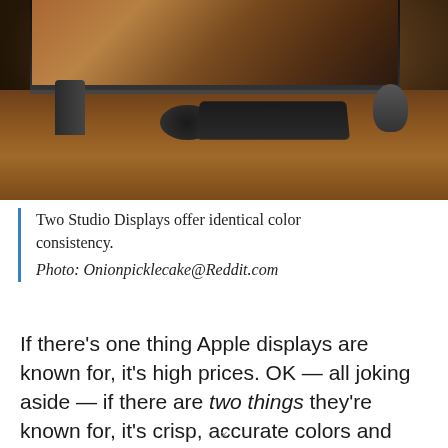[Figure (photo): A dark wood desk setup with two monitors showing a warm orange/brown image, a keyboard, mouse, headphones, speaker, and Mac Mini. The photo is taken in a dim room with the monitors as the primary light source.]
Two Studio Displays offer identical color consistency.
Photo: Onionpicklecake@Reddit.com
If there’s one thing Apple displays are known for, it’s high prices. OK — all joking aside — if there are two things they’re known for, it’s crisp, accurate colors and being worth the price for that level of ...